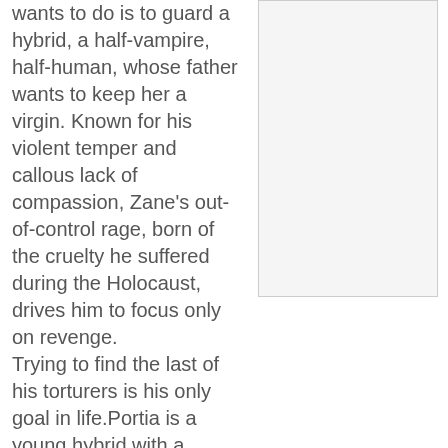wants to do is to guard a hybrid, a half-vampire, half-human, whose father wants to keep her a virgin. Known for his violent temper and callous lack of compassion, Zane's out-of-control rage, born of the cruelty he suffered during the Holocaust, drives him to focus only on revenge.
[Figure (other): Blank or mostly white rectangular image/book cover placeholder with light border]
Trying to find the last of his torturers is his only goal in life.Portia is a young hybrid with a serious dilemma: in a few weeks, her body will be set in its final vampire form. If she is to avoid having to live out her immortal life as a virgin, she must find a lover in that short time—something her father hires Zane to prevent.The moment Portia and Zane meet, rules begin to bend, and a forbidden